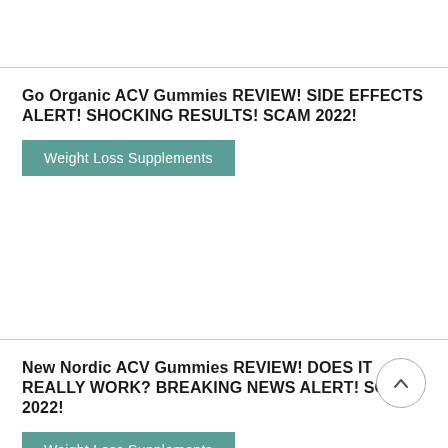Go Organic ACV Gummies REVIEW! SIDE EFFECTS ALERT! SHOCKING RESULTS! SCAM 2022!
Weight Loss Supplements
New Nordic ACV Gummies REVIEW! DOES IT REALLY WORK? BREAKING NEWS ALERT! SCAM 2022!
Weight Loss Supplements